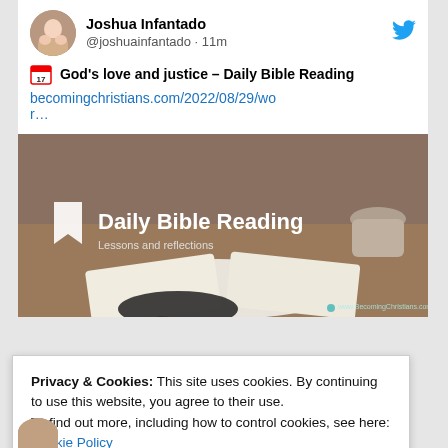Joshua Infantado @joshuainfantado · 11m
📅 God's love and justice – Daily Bible Reading becomingchristians.com/2022/08/29/wor…
[Figure (photo): Daily Bible Reading card image showing a person reading an open Bible on a wooden table with a cup in the background. Overlay text: 'Daily Bible Reading – Lessons and reflections'. Website: www.BecomingChristians.com]
Privacy & Cookies: This site uses cookies. By continuing to use this website, you agree to their use.
To find out more, including how to control cookies, see here: Cookie Policy
Close and accept